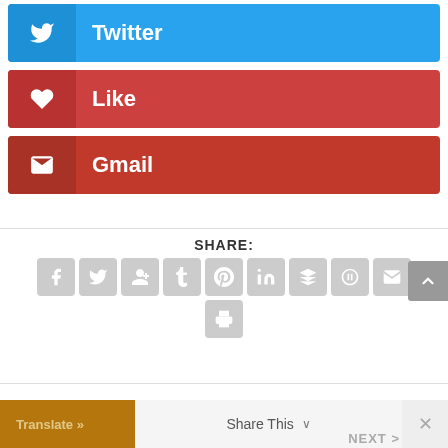[Figure (screenshot): Social sharing buttons: Twitter (blue), Like (red), Gmail (dark red)]
SHARE:
[Figure (screenshot): Row of social share icon buttons: Facebook, Twitter, Google+, Tumblr, Pinterest, LinkedIn, Buffer, StumbleUpon, Email, and a print button below]
[Figure (screenshot): Footer bar with Translate, Share This, and close button; NEXT label partially visible]